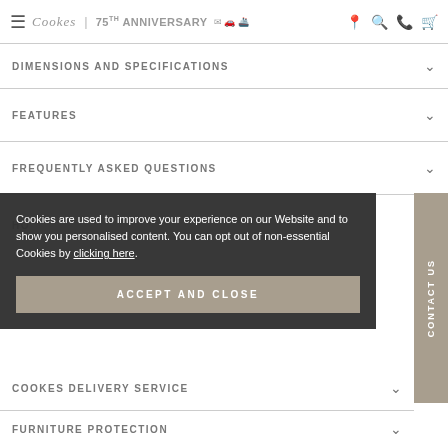Cookes 75th Anniversary
DIMENSIONS AND SPECIFICATIONS
FEATURES
FREQUENTLY ASKED QUESTIONS
HOW WILL MY ORDER BE DELIVERED?
Cookies are used to improve your experience on our Website and to show you personalised content. You can opt out of non-essential Cookies by clicking here.
COOKES DELIVERY SERVICE
ACCEPT AND CLOSE
FURNITURE PROTECTION